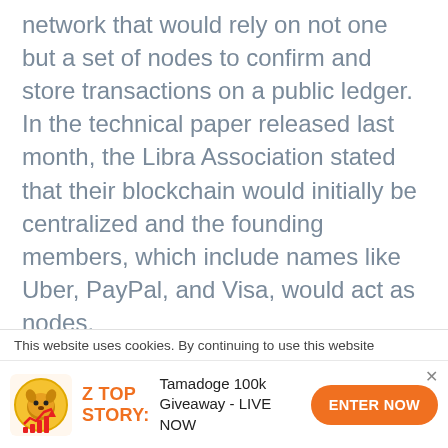network that would rely on not one but a set of nodes to confirm and store transactions on a public ledger. In the technical paper released last month, the Libra Association stated that their blockchain would initially be centralized and the founding members, which include names like Uber, PayPal, and Visa, would act as nodes.

The association promised that, over time, they would decentralize the Libra blockchain to distribute its control among more partners. Nevertheless, how would those new members make into the Libra club
This website uses cookies. By continuing to use this website
[Figure (infographic): Z TOP STORY advertisement banner with a crypto coin icon (dog coin with upward arrow chart), text 'Tamadoge 100k Giveaway - LIVE NOW', and an orange 'ENTER NOW' button]